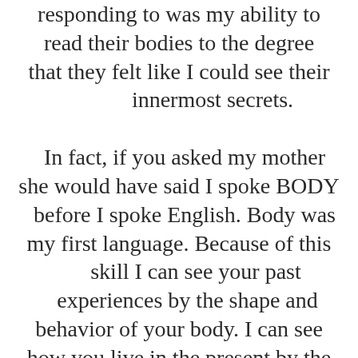responding to was my ability to read their bodies to the degree that they felt like I could see their innermost secrets.

In fact, if you asked my mother she would have said I spoke BODY before I spoke English. Body was my first language. Because of this skill I can see your past experiences by the shape and behavior of your body. I can see how you live in the present by the muscular structure of your shape